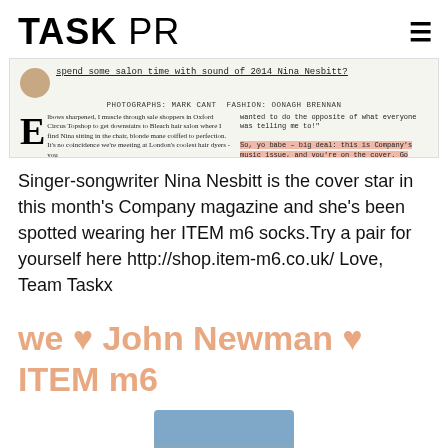TASK PR
[Figure (screenshot): Screenshot of a magazine article about Nina Nesbitt, showing a drop cap E, article text about Oxford Circus Topshop and Bleach hair salon, a photo credit line reading PHOTOGRAPHS: MARK CANT FASHION: OONAGH BRENNAN, and highlighted text about Company's music issue.]
Singer-songwriter Nina Nesbitt is the cover star in this month's Company magazine and she's been spotted wearing her ITEM m6 socks.Try a pair for yourself here http://shop.item-m6.co.uk/ Love, Team Taskx
we ♥ John Newman ♥ ITEM m6
[Figure (photo): Bottom portion of a photo showing socks in blue/tan colors.]